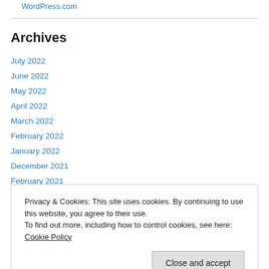WordPress.com
Archives
July 2022
June 2022
May 2022
April 2022
March 2022
February 2022
January 2022
December 2021
February 2021
Privacy & Cookies: This site uses cookies. By continuing to use this website, you agree to their use. To find out more, including how to control cookies, see here: Cookie Policy
Close and accept
March 2020